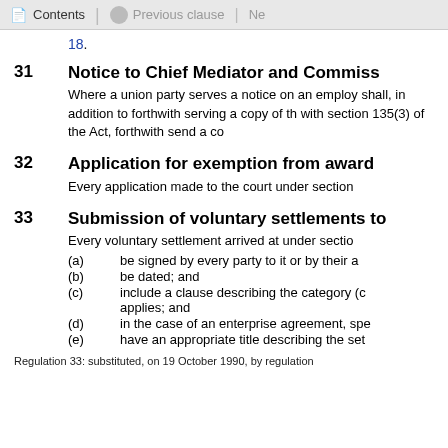Contents | Previous clause | Ne
18.
31  Notice to Chief Mediator and Commiss
Where a union party serves a notice on an employ shall, in addition to forthwith serving a copy of th with section 135(3) of the Act, forthwith send a co
32  Application for exemption from award
Every application made to the court under section
33  Submission of voluntary settlements to
Every voluntary settlement arrived at under sectio
(a)  be signed by every party to it or by their a
(b)  be dated; and
(c)  include a clause describing the category (c applies; and
(d)  in the case of an enterprise agreement, spe
(e)  have an appropriate title describing the set
Regulation 33: substituted, on 19 October 1990, by regulation